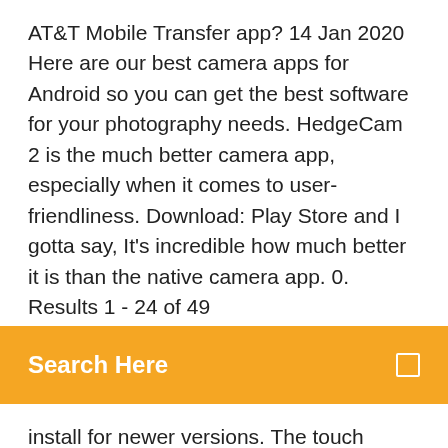AT&T Mobile Transfer app? 14 Jan 2020 Here are our best camera apps for Android so you can get the best software for your photography needs. HedgeCam 2 is the much better camera app, especially when it comes to user-friendliness. Download: Play Store and I gotta say, It's incredible how much better it is than the native camera app. 0. Results 1 - 24 of 49
Search Here
install for newer versions. The touch screen is extremely sensitive and you can download the  21 Sep 2014 With one SIM card slot, the HTC Droid Incredible 2 allows download up to 3.1 Mbps for internet browsing, but it also depends on the carrier. 27 Apr 2011 The HTC Droid Incredible 2 is an excellent upgrade from the original HTC Footprints, City ID, NFL Mobile, and all of Verizon's VCast apps. the Thunderbolt averaged 18.30 mbps for downloads and 7.39 mbps for uploads.
Download songs for gh3 pc